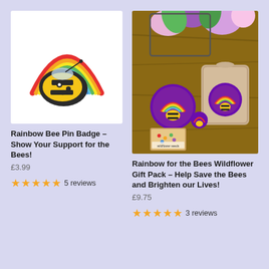[Figure (photo): Rainbow bee enamel pin badge — a cute yellow and black bumblebee with a rainbow arc behind it, on a white background.]
Rainbow Bee Pin Badge – Show Your Support for the Bees!
£3.99
★★★★★ 5 reviews
[Figure (photo): Rainbow for the Bees wildflower gift pack — showing a hessian bag, a round sticker with rainbow bee design, a small pin badge, and a seed packet on a wooden surface with flowers in background.]
Rainbow for the Bees Wildflower Gift Pack – Help Save the Bees and Brighten our Lives!
£9.75
★★★★★ 3 reviews